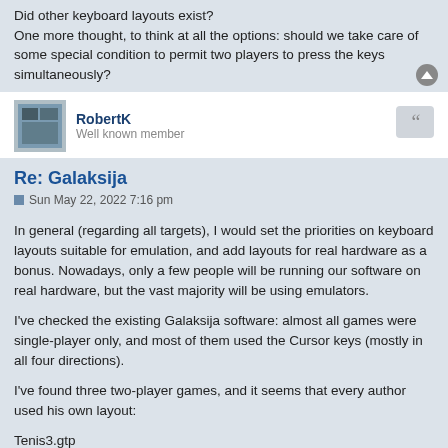Did other keyboard layouts exist?
One more thought, to think at all the options: should we take care of some special condition to permit two players to press the keys simultaneously?
RobertK
Well known member
Re: Galaksija
Sun May 22, 2022 7:16 pm
In general (regarding all targets), I would set the priorities on keyboard layouts suitable for emulation, and add layouts for real hardware as a bonus. Nowadays, only a few people will be running our software on real hardware, but the vast majority will be using emulators.
I've checked the existing Galaksija software: almost all games were single-player only, and most of them used the Cursor keys (mostly in all four directions).
I've found three two-player games, and it seems that every author used his own layout:
Tenis3.gtp
(only Up/Down + Fire)
QA-S